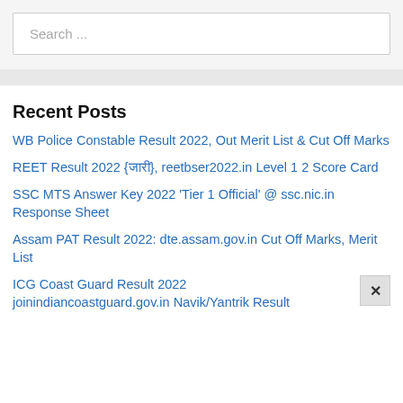Search ...
Recent Posts
WB Police Constable Result 2022, Out Merit List & Cut Off Marks
REET Result 2022 {जारी}, reetbser2022.in Level 1 2 Score Card
SSC MTS Answer Key 2022 'Tier 1 Official' @ ssc.nic.in Response Sheet
Assam PAT Result 2022: dte.assam.gov.in Cut Off Marks, Merit List
ICG Coast Guard Result 2022 joinindiancoastguard.gov.in Navik/Yantrik Result